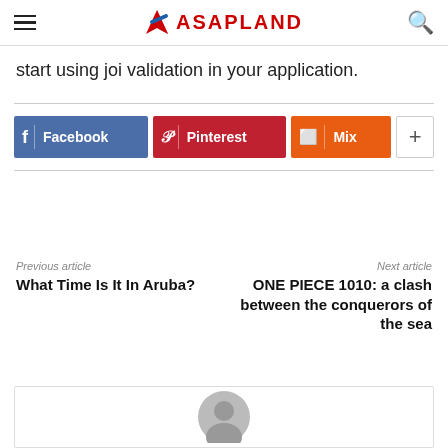ASAPLAND
start using joi validation in your application.
[Figure (other): Social share buttons: Facebook (blue), Pinterest (red), Mix (orange), and a plus button]
Previous article
What Time Is It In Aruba?
Next article
ONE PIECE 1010: a clash between the conquerors of the sea
[Figure (other): Author avatar card with gray placeholder silhouette]